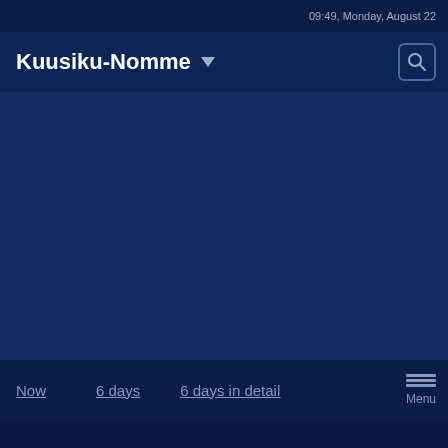09:49, Monday, August 22
Kuusiku-Nomme ▾
[Figure (map): Dark blue map background area showing a location view for Kuusiku-Nomme]
Now   6 days   6 days in detail   Menu